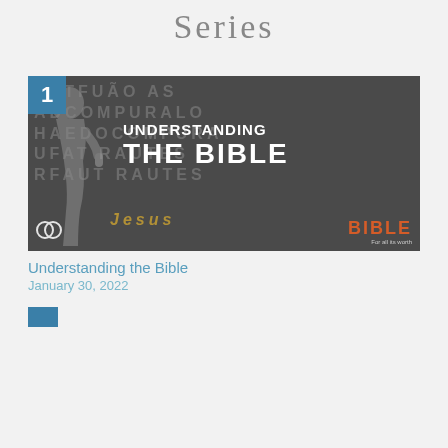Series
[Figure (photo): Thumbnail image for sermon series 'Understanding the Bible' showing a speaker with microphone raising one finger, with text letters in background. White bold text reads 'UNDERSTANDING THE BIBLE'. Bottom left has a circular logo, bottom right has 'BIBLE' in orange/red text. Number badge '1' in teal square top-left.]
Understanding the Bible
January 30, 2022